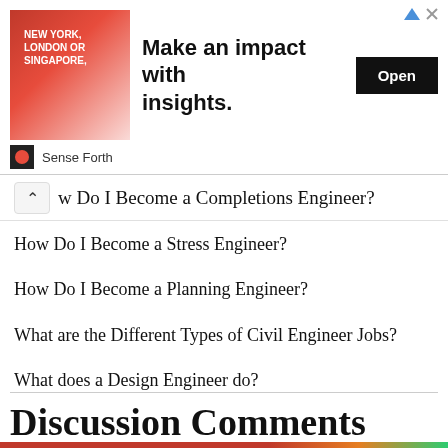[Figure (infographic): Advertisement banner for Sense Forth with image of man in suit, text 'NEW YORK, LONDON OR SINGAPORE,' and headline 'Make an impact with insights.' with an Open button]
How Do I Become a Completions Engineer?
How Do I Become a Stress Engineer?
How Do I Become a Planning Engineer?
What are the Different Types of Civil Engineer Jobs?
What does a Design Engineer do?
Discussion Comments